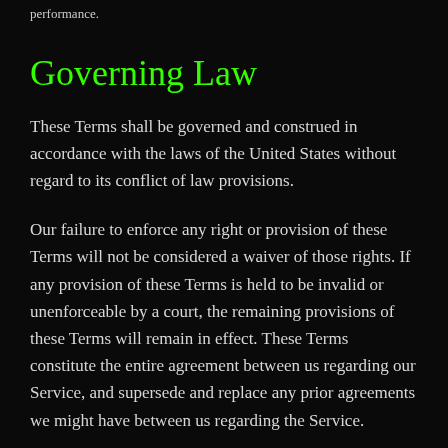performance.
Governing Law
These Terms shall be governed and construed in accordance with the laws of the United States without regard to its conflict of law provisions.
Our failure to enforce any right or provision of these Terms will not be considered a waiver of those rights. If any provision of these Terms is held to be invalid or unenforceable by a court, the remaining provisions of these Terms will remain in effect. These Terms constitute the entire agreement between us regarding our Service, and supersede and replace any prior agreements we might have between us regarding the Service.